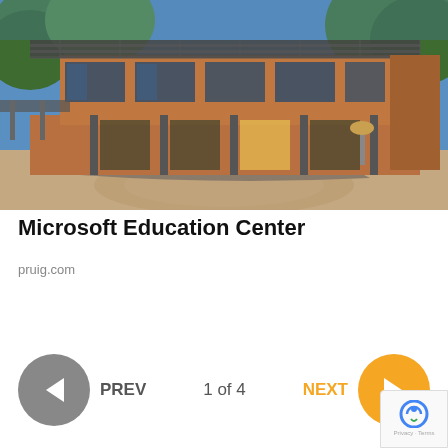[Figure (photo): Exterior photograph of the Microsoft Education Center building — a modern two-story brick and glass structure with a metal pergola roof, surrounded by trees and a curved stone garden wall in the foreground, shot on a sunny day.]
Microsoft Education Center
pruig.com
PREV
1 of 4
NEXT